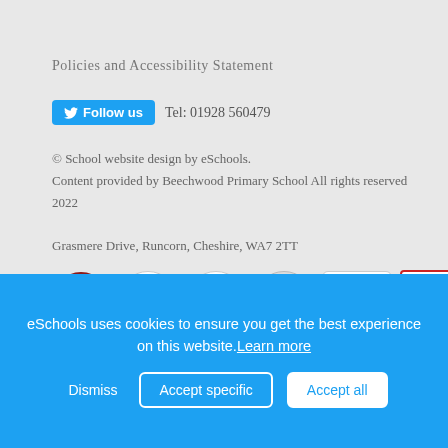Policies and Accessibility Statement
Follow us  Tel: 01928 560479
© School website design by eSchools. Content provided by Beechwood Primary School All rights reserved 2022
Grasmere Drive, Runcorn, Cheshire, WA7 2TT
[Figure (logo): Row of award/accreditation logos: Music Mark, Accent Ambassador School, Arts Council England, School Games Platinum, Healthy Schools, Q mark]
[Figure (logo): Second row of award logos partially visible: various school award badges including ICT Mark]
eSchools uses cookies to ensure you get the best experience on this website. Learn more
Dismiss  Accept specific  Accept all